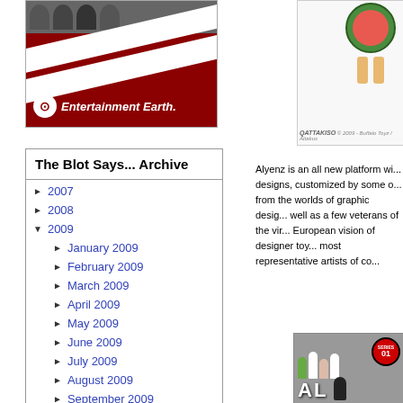[Figure (photo): Entertainment Earth logo/banner with dark red background, diagonal white stripes, circular logo with E, and italic text 'Entertainment Earth.' with people visible at top]
[Figure (photo): Toy figure - watermelon/character designer toy partially visible, with Qattakiso copyright text at bottom]
Alyenz is an all new platform wi... designs, customized by some o... from the worlds of graphic desig... well as a few veterans of the vir... European vision of designer toy... most representative artists of co...
The Blot Says... Archive
2007
2008
2009
January 2009
February 2009
March 2009
April 2009
May 2009
June 2009
July 2009
August 2009
September 2009
[Figure (photo): Alyenz Series 01 designer toys display with multiple small alien/rabbit figures, astronaut figure, SERIES 01 badge, and partial 'AL' text visible]